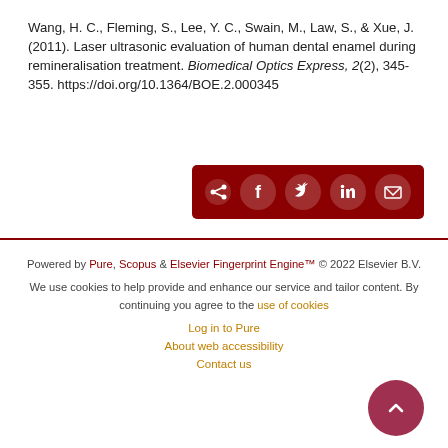Wang, H. C., Fleming, S., Lee, Y. C., Swain, M., Law, S., & Xue, J. (2011). Laser ultrasonic evaluation of human dental enamel during remineralisation treatment. Biomedical Optics Express, 2(2), 345-355. https://doi.org/10.1364/BOE.2.000345
[Figure (other): Dark red share bar with share icon and social media icons: Facebook, Twitter, LinkedIn, Email]
Powered by Pure, Scopus & Elsevier Fingerprint Engine™ © 2022 Elsevier B.V.
We use cookies to help provide and enhance our service and tailor content. By continuing you agree to the use of cookies
Log in to Pure
About web accessibility
Contact us